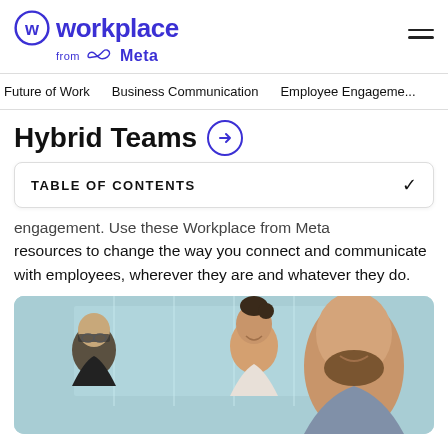Workplace from Meta
Future of Work | Business Communication | Employee Engagement
Hybrid Teams
TABLE OF CONTENTS
engagement. Use these Workplace from Meta resources to change the way you connect and communicate with employees, wherever they are and whatever they do.
[Figure (photo): Three people in an office setting — a person with glasses on the left, a smiling woman in the center background, and a bald bearded man in the foreground right — appearing to collaborate.]